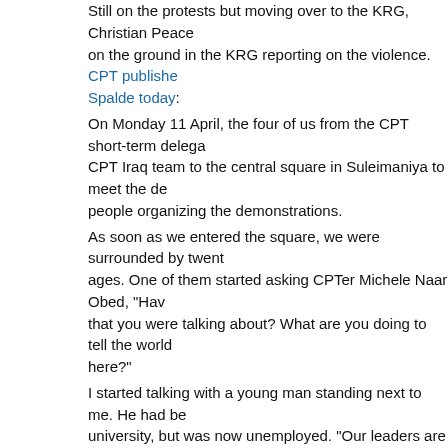Still on the protests but moving over to the KRG, Christian Peacemaker Teams has people on the ground in the KRG reporting on the violence. CPT published a report by Jan Benvie Spalde today: On Monday 11 April, the four of us from the CPT short-term delegation joined the CPT Iraq team to the central square in Suleimaniya to meet the demonstrators and the people organizing the demonstrations. As soon as we entered the square, we were surrounded by twenty or so men of various ages. One of them started asking CPTer Michele Naar Obed, "Have you written the report that you were talking about? What are you doing to tell the world about what's happening here?" I started talking with a young man standing next to me. He had been educated at university, but was now unemployed. "Our leaders are worse than Saddam," he said in a tired voice. "They have learnt from Saddam. There are no human rights." In his opinion, many of those who come to the square each day are unemployed. "It is difficult to get a job if you don't have a connection to one of the political parties. And if you don't have a job, you have no money. You can't even afford to eat." Michele told one of the men questioning her that Amnesty International had published a report on the repression against protesters in Iraq and Kurdistan, and asked them whether they would mention this from the stage as an encouragement to the demonstrators that their information is getting out. After a half hour we met with two organizers of the protests in a cafe. One is a teacher, the other works for an international non-governmental organization. They told us that since mid-February, the demonstrations started in a very spontaneous way and they see it as the people's nonviolent fight for democracy and human rights in